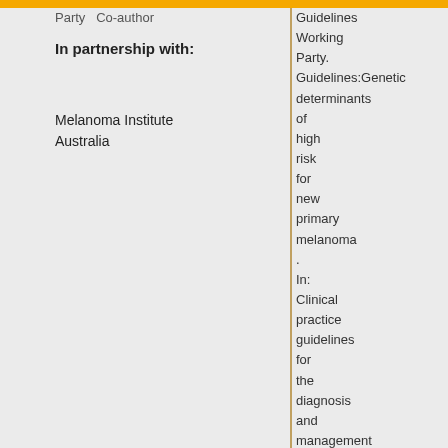Party   Co-author
In partnership with:
Melanoma Institute Australia
Guidelines Working Party. Guidelines:Genetic determinants of high risk for new primary melanoma . In: Clinical practice guidelines for the diagnosis and management of melanoma